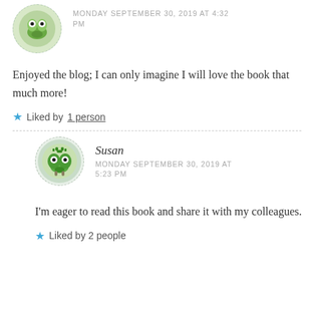[Figure (illustration): Circular avatar with dashed border containing a cartoon frog illustration on green background]
MONDAY SEPTEMBER 30, 2019 AT 4:32 PM
Enjoyed the blog; I can only imagine I will love the book that much more!
Liked by 1 person
[Figure (illustration): Circular avatar with dashed border containing a cartoon alien/bug character illustration]
Susan
MONDAY SEPTEMBER 30, 2019 AT 5:23 PM
I'm eager to read this book and share it with my colleagues.
Liked by 2 people